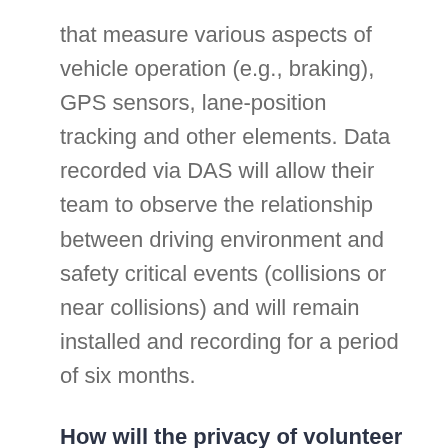that measure various aspects of vehicle operation (e.g., braking), GPS sensors, lane-position tracking and other elements. Data recorded via DAS will allow their team to observe the relationship between driving environment and safety critical events (collisions or near collisions) and will remain installed and recording for a period of six months.
How will the privacy of volunteer company's and drivers be protected?
All video and telematics data recorded